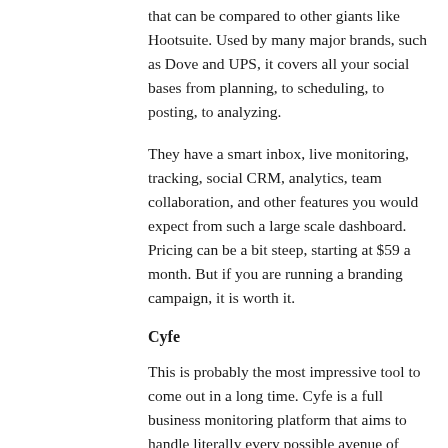that can be compared to other giants like Hootsuite. Used by many major brands, such as Dove and UPS, it covers all your social bases from planning, to scheduling, to posting, to analyzing.
They have a smart inbox, live monitoring, tracking, social CRM, analytics, team collaboration, and other features you would expect from such a large scale dashboard. Pricing can be a bit steep, starting at $59 a month. But if you are running a branding campaign, it is worth it.
Cyfe
This is probably the most impressive tool to come out in a long time. Cyfe is a full business monitoring platform that aims to handle literally every possible avenue of your online engagement and tasks from a